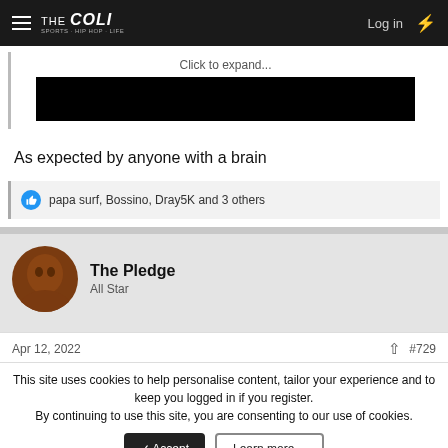THE COLI — Log in
Click to expand...
[Figure (other): Black redacted image block]
As expected by anyone with a brain
papa surf, Bossino, Dray5K and 3 others
The Pledge
All Star
Apr 12, 2022  #729
This site uses cookies to help personalise content, tailor your experience and to keep you logged in if you register.
By continuing to use this site, you are consenting to our use of cookies.